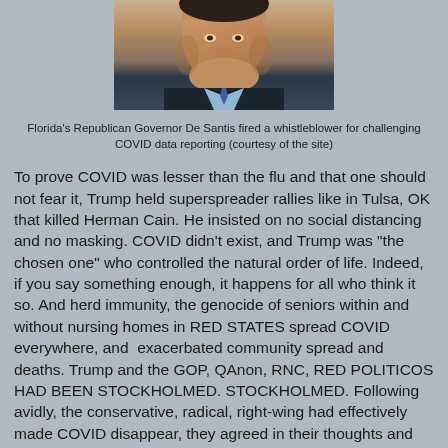[Figure (photo): Partial photo of a man in a dark suit and light blue shirt, cropped at the head and shoulders, appearing to be speaking.]
Florida's Republican Governor De Santis fired a whistleblower for challenging COVID data reporting (courtesy of the site)
To prove COVID was lesser than the flu and that one should not fear it, Trump held superspreader rallies like in Tulsa, OK that killed Herman Cain. He insisted on no social distancing and no masking. COVID didn't exist, and Trump was "the chosen one" who controlled the natural order of life. Indeed, if you say something enough, it happens for all who think it so. And herd immunity, the genocide of seniors within and without nursing homes in RED STATES spread COVID everywhere, and  exacerbated community spread and deaths. Trump and the GOP, QAnon, RNC, RED POLITICOS HAD BEEN STOCKHOLMED. STOCKHOLMED. Following avidly, the conservative, radical, right-wing had effectively made COVID disappear, they agreed in their thoughts and behaviors. Except for those who went to funerals of friends and loved ones and read